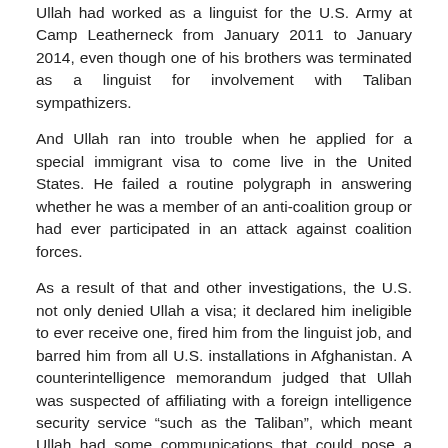Ullah had worked as a linguist for the U.S. Army at Camp Leatherneck from January 2011 to January 2014, even though one of his brothers was terminated as a linguist for involvement with Taliban sympathizers.
And Ullah ran into trouble when he applied for a special immigrant visa to come live in the United States. He failed a routine polygraph in answering whether he was a member of an anti-coalition group or had ever participated in an attack against coalition forces.
As a result of that and other investigations, the U.S. not only denied Ullah a visa; it declared him ineligible to ever receive one, fired him from the linguist job, and barred him from all U.S. installations in Afghanistan. A counterintelligence memorandum judged that Ullah was suspected of affiliating with a foreign intelligence security service “such as the Taliban”, which meant Ullah had some communications that could pose a “force protection threat”, an appellate court record stated.
No matter any of that, though. In September 2016, with the alleged help of special immigrant visa-holder Saify in New Jersey, Ullah began the end-run. He paid smuggler’s $16,000 to reach Brownsville, Texas, from Mexico.